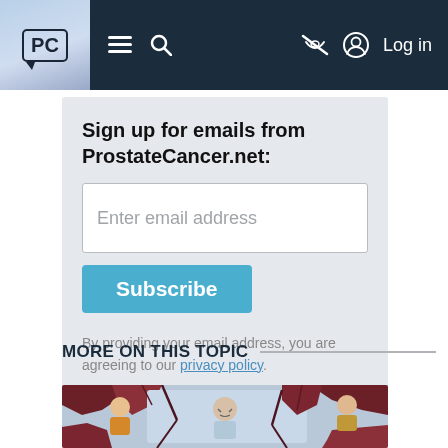PC | menu | search | hide | Log in
Sign up for emails from ProstateCancer.net:
Enter email address
Subscribe
By providing your email address, you are agreeing to our privacy policy.
MORE ON THIS TOPIC
[Figure (illustration): Illustrated image of two people with a cracked/fractured tree background, shown at the bottom of the page]